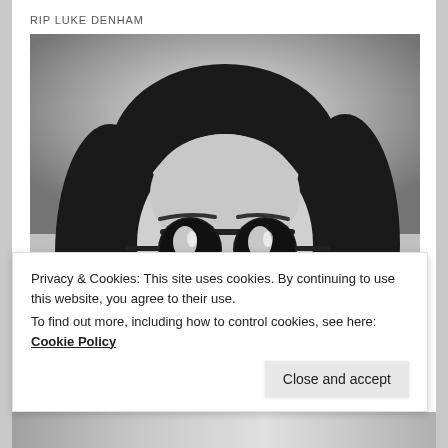RIP LUKE DENHAM
[Figure (photo): Black and white portrait photo of a young man with shoulder-length dark hair, wearing round dark sunglasses with reflections visible in the lenses, and a chin beard/goatee. He is wearing a dark jacket and has a serious expression.]
Privacy & Cookies: This site uses cookies. By continuing to use this website, you agree to their use.
To find out more, including how to control cookies, see here: Cookie Policy
Close and accept